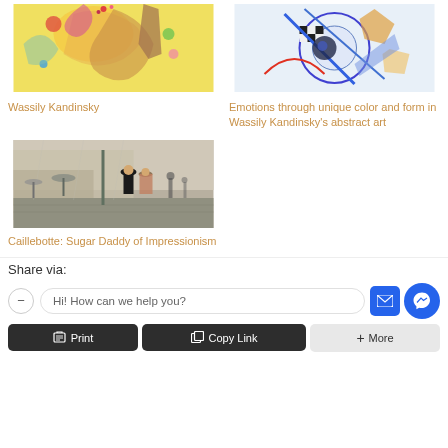[Figure (illustration): Painting by Wassily Kandinsky - colorful abstract art with yellow, red, pink tones]
Wassily Kandinsky
[Figure (illustration): Painting by Wassily Kandinsky - abstract with blue, white geometric forms]
Emotions through unique color and form in Wassily Kandinsky's abstract art
[Figure (photo): Caillebotte painting of Paris street scene with figures and umbrellas in rain]
Caillebotte: Sugar Daddy of Impressionism
Share via:
Hi! How can we help you?
Print
Copy Link
More